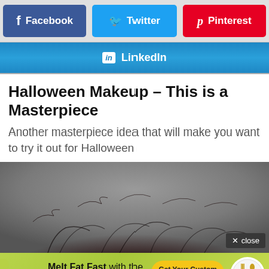[Figure (screenshot): Social share buttons row: Facebook (blue-purple), Twitter (blue), Pinterest (red)]
[Figure (screenshot): LinkedIn share button row (blue gradient)]
Halloween Makeup – This is a Masterpiece
Another masterpiece idea that will make you want to try it out for Halloween
[Figure (photo): Dark photo showing the top of a head with dark messy hair against a grey background, with a 'close' button overlay]
[Figure (infographic): Advertisement banner: 'Melt Fat Fast with the Keto Diet' with 'Get Your Custom Keto Plan' button and plate with fork/spoon illustration]